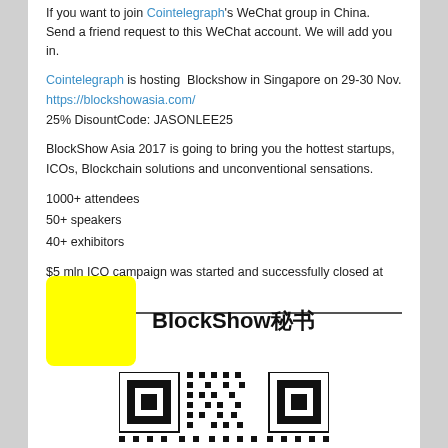If you want to join Cointelegraph's WeChat group in China. Send a friend request to this WeChat account. We will add you in.
Cointelegraph is hosting Blockshow in Singapore on 29-30 Nov.
https://blockshowasia.com/
25% DisountCode: JASONLEE25
BlockShow Asia 2017 is going to bring you the hottest startups, ICOs, Blockchain solutions and unconventional sensations.
1000+ attendees
50+ speakers
40+ exhibitors
$5 mln ICO campaign was started and successfully closed at BlockShow
[Figure (logo): Yellow square icon representing BlockShow WeChat account, with text 'BlockShow秘书' (BlockShow Secretary)]
[Figure (other): QR code for BlockShow WeChat account]